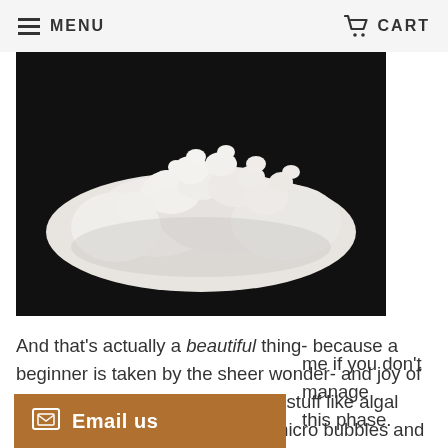MENU   CART
[Figure (photo): Photograph of white coral-like mineral formation against a black background]
And that's actually a beautiful thing- because a beginner is taken by the sheer wonder- and joy of it all. They don't stress out about stuff like algal films, detritus on the substrate, micro bubbles and the occasional falling piece of wood in their aquascape. They're not worried about that yucky algae or water moment or any other of a dozen minutae like we are, because they don't KNOW that it can [be]me if you don't manage [during] this phase.